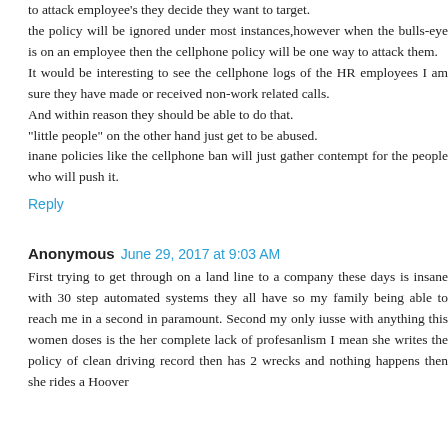to attack employee's they decide they want to target. the policy will be ignored under most instances,however when the bulls-eye is on an employee then the cellphone policy will be one way to attack them. It would be interesting to see the cellphone logs of the HR employees I am sure they have made or received non-work related calls. And within reason they should be able to do that. "little people" on the other hand just get to be abused. inane policies like the cellphone ban will just gather contempt for the people who will push it.
Reply
Anonymous  June 29, 2017 at 9:03 AM
First trying to get through on a land line to a company these days is insane with 30 step automated systems they all have so my family being able to reach me in a second in paramount. Second my only iusse with anything this women doses is the her complete lack of profesanlism I mean she writes the policy of clean driving record then has 2 wrecks and nothing happens then she rides a Hoover